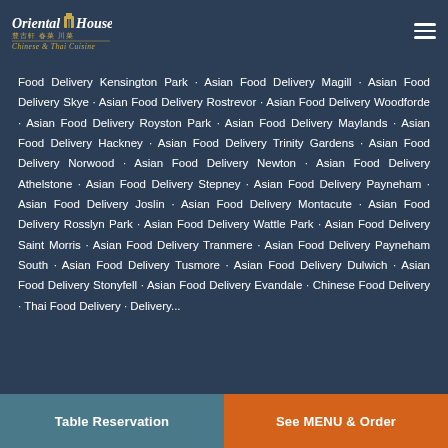Oriental House Chinese & Thai Cuisine
Food Delivery Kensington Park · Asian Food Delivery Magill · Asian Food Delivery Skye · Asian Food Delivery Rostrevor · Asian Food Delivery Woodforde · Asian Food Delivery Royston Park · Asian Food Delivery Maylands · Asian Food Delivery Hackney · Asian Food Delivery Trinity Gardens · Asian Food Delivery Norwood · Asian Food Delivery Newton · Asian Food Delivery Athelstone · Asian Food Delivery Stepney · Asian Food Delivery Payneham · Asian Food Delivery Joslin · Asian Food Delivery Montacute · Asian Food Delivery Rosslyn Park · Asian Food Delivery Wattle Park · Asian Food Delivery Saint Morris · Asian Food Delivery Tranmere · Asian Food Delivery Payneham South · Asian Food Delivery Tusmore · Asian Food Delivery Dulwich · Asian Food Delivery Stonyfell · Asian Food Delivery Evandale · Chinese Food Delivery · Thai Food Delivery · Delivery...
Table Reservation | See MENU & Order